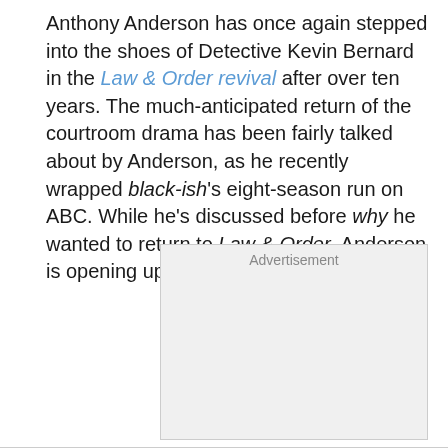Anthony Anderson has once again stepped into the shoes of Detective Kevin Bernard in the Law & Order revival after over ten years. The much-anticipated return of the courtroom drama has been fairly talked about by Anderson, as he recently wrapped black-ish's eight-season run on ABC. While he's discussed before why he wanted to return to Law & Order, Anderson is opening up about how it happened.
[Figure (other): Advertisement placeholder box with grey background]